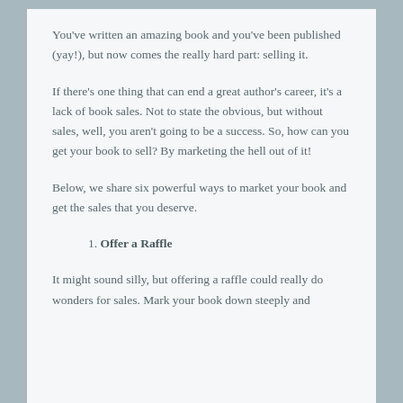You've written an amazing book and you've been published (yay!), but now comes the really hard part: selling it.
If there's one thing that can end a great author's career, it's a lack of book sales. Not to state the obvious, but without sales, well, you aren't going to be a success. So, how can you get your book to sell? By marketing the hell out of it!
Below, we share six powerful ways to market your book and get the sales that you deserve.
1. Offer a Raffle
It might sound silly, but offering a raffle could really do wonders for sales. Mark your book down steeply and